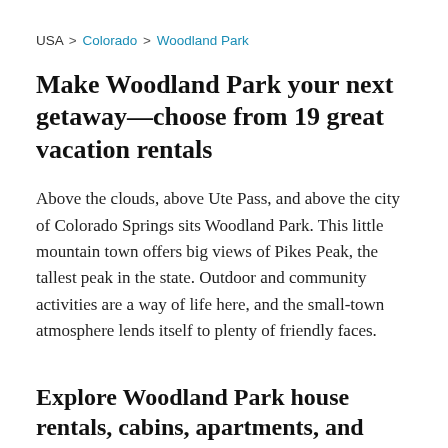USA > Colorado > Woodland Park
Make Woodland Park your next getaway—choose from 19 great vacation rentals
Above the clouds, above Ute Pass, and above the city of Colorado Springs sits Woodland Park. This little mountain town offers big views of Pikes Peak, the tallest peak in the state. Outdoor and community activities are a way of life here, and the small-town atmosphere lends itself to plenty of friendly faces.
Explore Woodland Park house rentals, cabins, apartments, and more